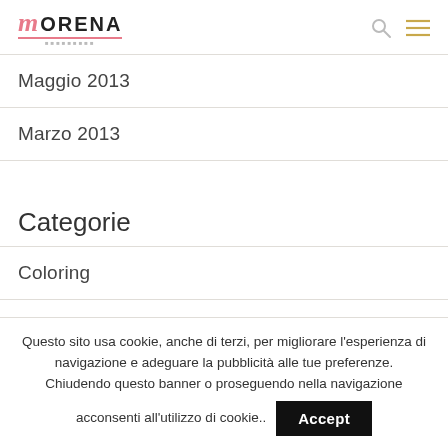Morena [logo with search and menu icons]
Maggio 2013
Marzo 2013
Categorie
Coloring
Questo sito usa cookie, anche di terzi, per migliorare l'esperienza di navigazione e adeguare la pubblicità alle tue preferenze. Chiudendo questo banner o proseguendo nella navigazione acconsenti all'utilizzo di cookie.. Accept